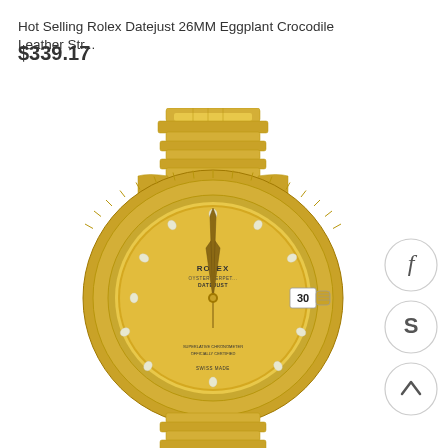Hot Selling Rolex Datejust 26MM Eggplant Crocodile Leather Str...
$339.17
[Figure (photo): Gold Rolex Datejust 26MM watch with champagne diamond dial, fluted bezel, and gold president bracelet, showing date '30' at 3 o'clock position]
[Figure (other): Facebook social share button (circular)]
[Figure (other): Skype social share button (circular)]
[Figure (other): Scroll to top button (circular with up chevron)]